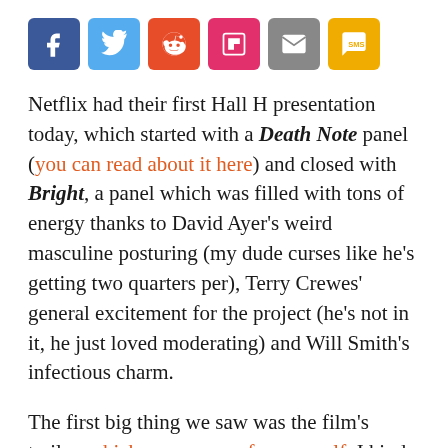[Figure (other): Social media share buttons: Facebook (blue), Twitter (light blue), Reddit (red-orange), Flipboard (red-pink), Email (gray), SMS (yellow)]
Netflix had their first Hall H presentation today, which started with a Death Note panel (you can read about it here) and closed with Bright, a panel which was filled with tons of energy thanks to David Ayer's weird masculine posturing (my dude curses like he's getting two quarters per), Terry Crewes' general excitement for the project (he's not in it, he just loved moderating) and Will Smith's infectious charm.
The first big thing we saw was the film's trailer, which you can see for yourself. I kind of love how blatantly weird it is. Open with Will Smith murdering an annoying faerie like it's no big deal? Sure! Orcs and